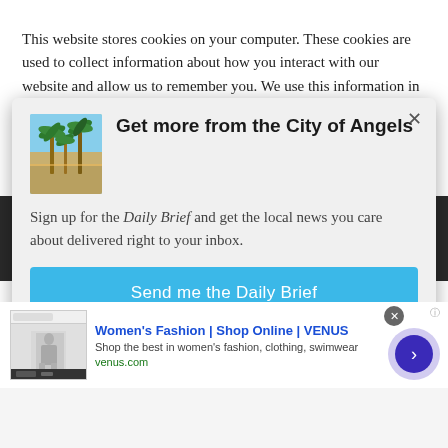This website stores cookies on your computer. These cookies are used to collect information about how you interact with our website and allow us to remember you. We use this information in order to
[Figure (screenshot): Modal popup dialog with palm tree photo, heading 'Get more from the City of Angels', newsletter signup text, and 'Send me the Daily Brief' button]
[Figure (screenshot): Ad banner for Women's Fashion | Shop Online | VENUS with thumbnail image and navigation arrow button]